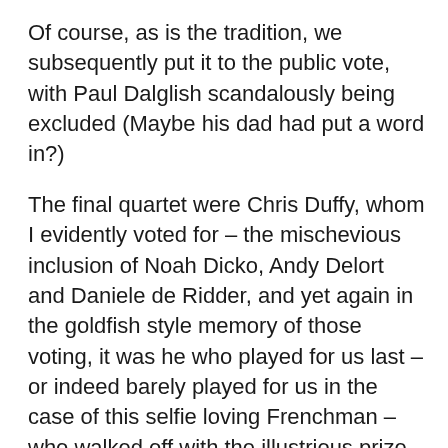Of course, as is the tradition, we subsequently put it to the public vote, with Paul Dalglish scandalously being excluded (Maybe his dad had put a word in?)
The final quartet were Chris Duffy, whom I evidently voted for – the mischevious inclusion of Noah Dicko, Andy Delort and Daniele de Ridder, and yet again in the goldfish style memory of those voting, it was he who played for us last – or indeed barely played for us in the case of this selfie loving Frenchman – who walked off with the illustrious prize.
And once more we are left with the question which gets debated every time we go through the Emporium of Sh*te: Is it really about players who were sh*te? Or players who were never played? Or couldn't be bothered playing for us?